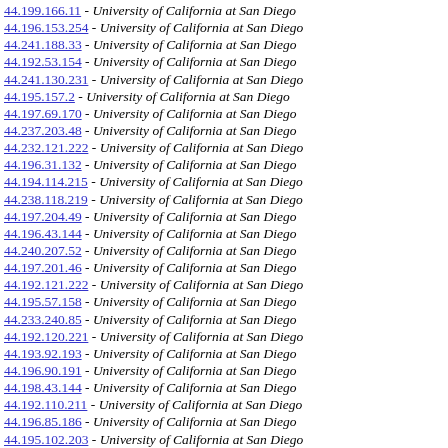44.199.166.11 - University of California at San Diego
44.196.153.254 - University of California at San Diego
44.241.188.33 - University of California at San Diego
44.192.53.154 - University of California at San Diego
44.241.130.231 - University of California at San Diego
44.195.157.2 - University of California at San Diego
44.197.69.170 - University of California at San Diego
44.237.203.48 - University of California at San Diego
44.232.121.222 - University of California at San Diego
44.196.31.132 - University of California at San Diego
44.194.114.215 - University of California at San Diego
44.238.118.219 - University of California at San Diego
44.197.204.49 - University of California at San Diego
44.196.43.144 - University of California at San Diego
44.240.207.52 - University of California at San Diego
44.197.201.46 - University of California at San Diego
44.192.121.222 - University of California at San Diego
44.195.57.158 - University of California at San Diego
44.233.240.85 - University of California at San Diego
44.192.120.221 - University of California at San Diego
44.193.92.193 - University of California at San Diego
44.196.90.191 - University of California at San Diego
44.198.43.144 - University of California at San Diego
44.192.110.211 - University of California at San Diego
44.196.85.186 - University of California at San Diego
44.195.102.203 - University of California at San Diego
44.193.223.68 - University of California at San Diego
44.198.95.196 - University of California at San Diego
44.197.197.42 - University of California at San Diego
44.236.47.148 - University of California at San Diego